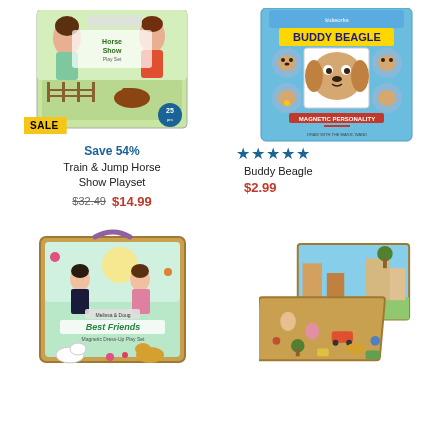[Figure (photo): Train & Jump Horse Show Playset product box showing children playing with horse show set, with SALE badge in yellow]
[Figure (photo): Buddy Beagle magnetic personality toy package with beagle face and magnetic accessories on blue background]
Save 54%
Train & Jump Horse Show Playset
$32.49  $14.99
★★★★★
Buddy Beagle
$2.99
[Figure (photo): Best Friends Magnetic Dress-Up Play Set by Melissa & Doug showing two doll figures and pets on wooden board]
[Figure (photo): Wooden magnetic activity board with town scene showing people, vehicles and accessories scattered around open box]